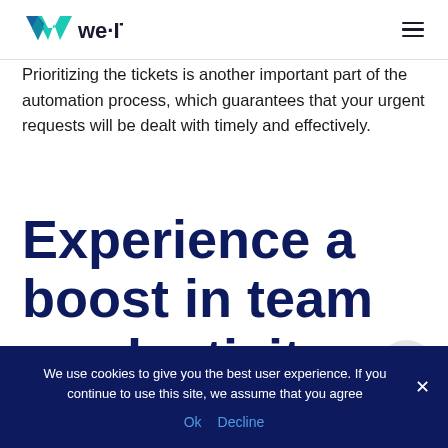we·IT
Prioritizing the tickets is another important part of the automation process, which guarantees that your urgent requests will be dealt with timely and effectively.
Experience a boost in team productivity
We use cookies to give you the best user experience. If you continue to use this site, we assume that you agree